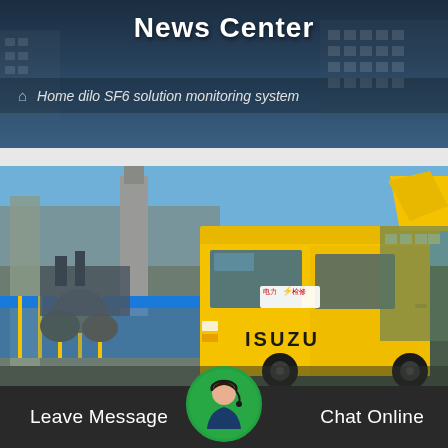News Center
Home dilo SF6 solution monitoring system
[Figure (photo): Yellow ISUZU truck parked at an industrial facility. The truck has a red Chinese text label on the windshield and is positioned in front of industrial equipment and a blue safety fence with yellow hazard stripes. Factory chimney visible in background.]
Leave Message
Chat Online